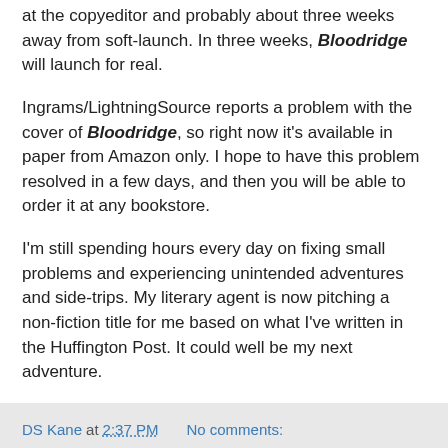at the copyeditor and probably about three weeks away from soft-launch. In three weeks, Bloodridge will launch for real.
Ingrams/LightningSource reports a problem with the cover of Bloodridge, so right now it's available in paper from Amazon only. I hope to have this problem resolved in a few days, and then you will be able to order it at any bookstore.
I'm still spending hours every day on fixing small problems and experiencing unintended adventures and side-trips. My literary agent is now pitching a non-fiction title for me based on what I've written in the Huffington Post. It could well be my next adventure.
DS Kane at 2:37 PM   No comments:
Share
An Adventure In Self-Publishing - POST #9